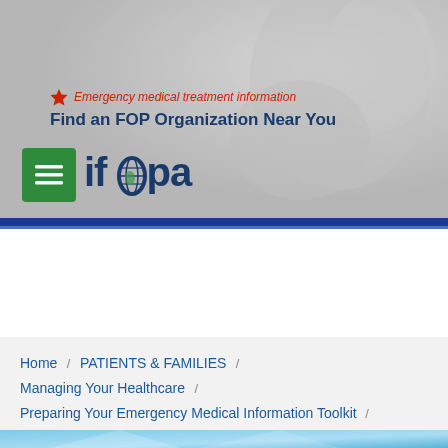[Figure (photo): Hero background photo showing a blurred medical/healthcare scene in grayscale]
Emergency medical treatment information
Find an FOP Organization Near You
[Figure (logo): IFOPA logo with green hamburger menu icon and blue ifopa wordmark with globe in letter o]
Home / PATIENTS & FAMILIES / Managing Your Healthcare / Preparing Your Emergency Medical Information Toolkit / Using Your Smartphone to Track Your Healthcare Information
[Figure (photo): Light blue geometric background image strip at bottom]